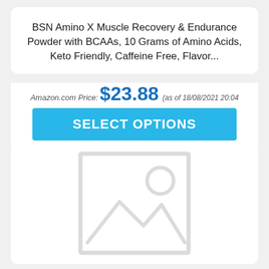BSN Amino X Muscle Recovery & Endurance Powder with BCAAs, 10 Grams of Amino Acids, Keto Friendly, Caffeine Free, Flavor...
Amazon.com Price: $23.88 (as of 18/08/2021 20:04 PST- Details)
SELECT OPTIONS
[Figure (photo): Placeholder image with grey image icon (mountains and sun) inside a grey frame, indicating no product image available]